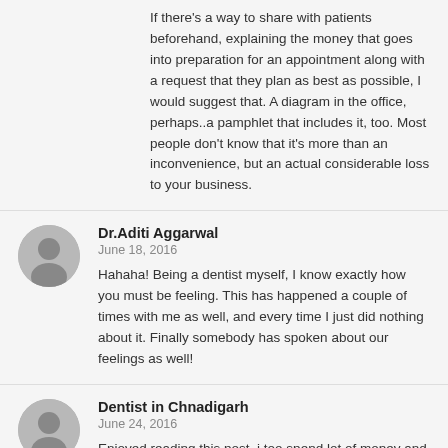If there's a way to share with patients beforehand, explaining the money that goes into preparation for an appointment along with a request that they plan as best as possible, I would suggest that. A diagram in the office, perhaps..a pamphlet that includes it, too. Most people don't know that it's more than an inconvenience, but an actual considerable loss to your business.
Dr.Aditi Aggarwal
June 18, 2016
Hahaha! Being a dentist myself, I know exactly how you must be feeling. This has happened a couple of times with me as well, and every time I just did nothing about it. Finally somebody has spoken about our feelings as well!
Dentist in Chnadigarh
June 24, 2016
Enjoyed reading this post. i too spend lot of money and time on this. most of time i got late and waste my money and time too.
Dentist in Phoenix, AZ